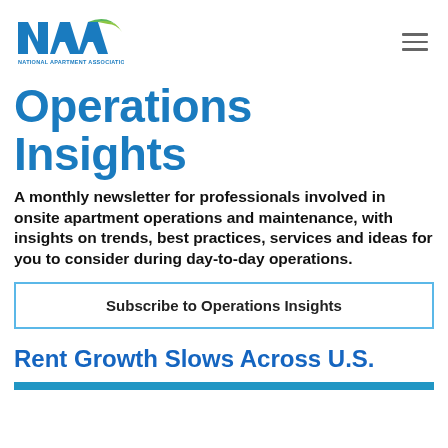[Figure (logo): NAA National Apartment Association logo with green and blue stylized letters]
Operations Insights
A monthly newsletter for professionals involved in onsite apartment operations and maintenance, with insights on trends, best practices, services and ideas for you to consider during day-to-day operations.
Subscribe to Operations Insights
Rent Growth Slows Across U.S.